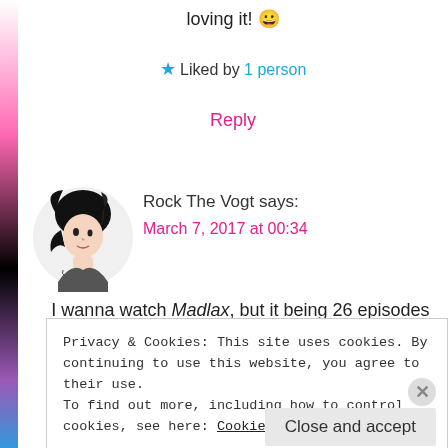loving it! 😀
★ Liked by 1 person
Reply
[Figure (illustration): Avatar image of Rock The Vogt, a drawn illustration of a dark-haired person]
Rock The Vogt says:
March 7, 2017 at 00:34
I wanna watch Madlax, but it being 26 episodes scares me away. 😀
Privacy & Cookies: This site uses cookies. By continuing to use this website, you agree to their use.
To find out more, including how to control cookies, see here: Cookie Policy
Close and accept